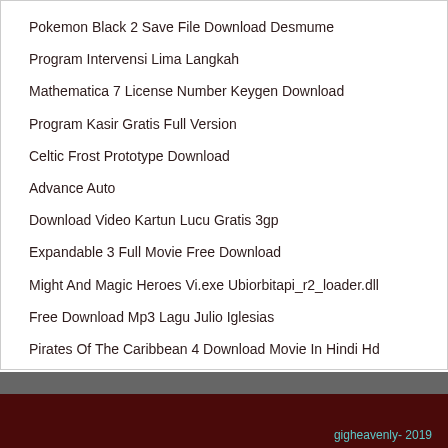Pokemon Black 2 Save File Download Desmume
Program Intervensi Lima Langkah
Mathematica 7 License Number Keygen Download
Program Kasir Gratis Full Version
Celtic Frost Prototype Download
Advance Auto
Download Video Kartun Lucu Gratis 3gp
Expandable 3 Full Movie Free Download
Might And Magic Heroes Vi.exe Ubiorbitapi_r2_loader.dll
Free Download Mp3 Lagu Julio Iglesias
Pirates Of The Caribbean 4 Download Movie In Hindi Hd
Madurai Vijay Tv Serial Wikipedia
gigheavenly- 2019